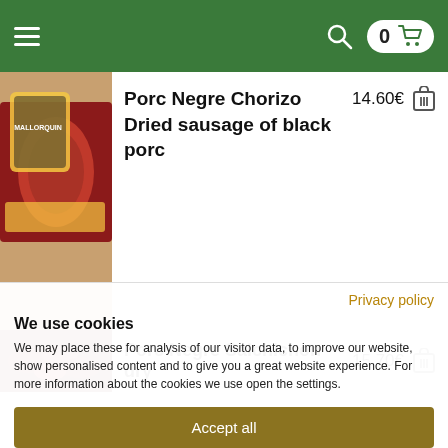Navigation header with hamburger menu, search icon, and cart showing 0 items
[Figure (photo): Product image of Porc Negre Chorizo dried sausage with packaging visible]
Porc Negre Chorizo Dried sausage of black porc  14.60€
[Figure (photo): Product image of Porc Negre Salchichon dry sausage]
Porc Negre Salchichon dry  15.70€
Privacy policy
We use cookies
We may place these for analysis of our visitor data, to improve our website, show personalised content and to give you a great website experience. For more information about the cookies we use open the settings.
Accept all
Deny
Adjust settings